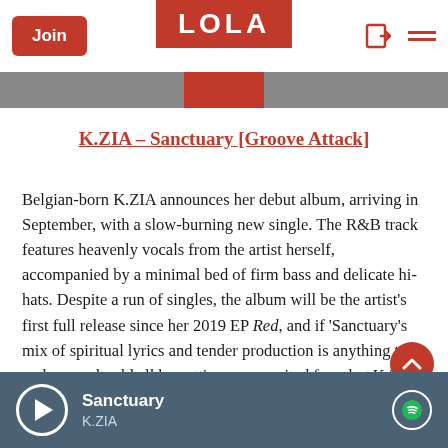Join | LOLA
K.ZIA – Sanctuary [Groove Attack]
Belgian-born K.ZIA announces her debut album, arriving in September, with a slow-burning new single. The R&B track features heavenly vocals from the artist herself, accompanied by a minimal bed of firm bass and delicate hi-hats. Despite a run of singles, the album will be the artist's first full release since her 2019 EP Red, and if 'Sanctuary's mix of spiritual lyrics and tender production is anything to go by, we should all be getting very excited for what K.ZIA has in store.
Sanctuary — K.ZIA (Spotify player)